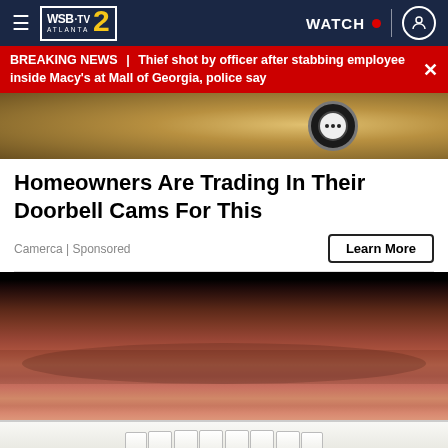WSB-TV 2 Atlanta — WATCH
BREAKING NEWS | Thief shot by officer after stabbing employee inside Macy's at Mall of Georgia, police say
[Figure (photo): Close-up of a smart doorbell camera mounted on a golden/bronze wall surface]
Homeowners Are Trading In Their Doorbell Cams For This
Camerca | Sponsored
Learn More
[Figure (photo): Close-up photo of a man's lower face showing stubble beard and bright white teeth smiling against a dark background]